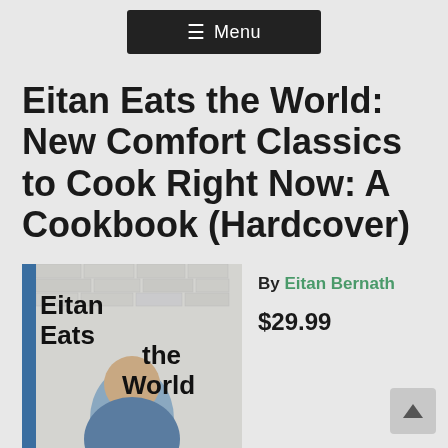≡ Menu
Eitan Eats the World: New Comfort Classics to Cook Right Now: A Cookbook (Hardcover)
[Figure (photo): Book cover of 'Eitan Eats the World: a cookbook' showing a young man smiling, with handwritten-style title text on a white brick background, with a blue spine on the left side.]
By Eitan Bernath
$29.99